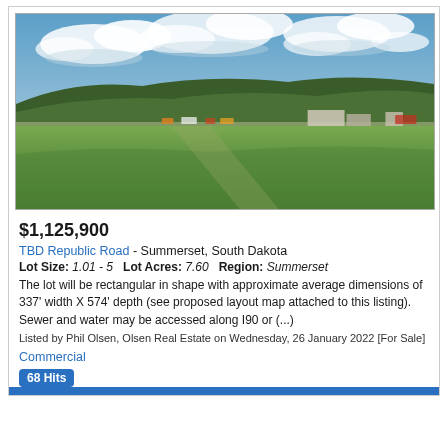[Figure (photo): Outdoor photograph of a green grassy field with a road and commercial buildings in the background, tree-covered hills on the horizon, and a partly cloudy blue sky above.]
$1,125,900
TBD Republic Road - Summerset, South Dakota
Lot Size: 1.01 - 5   Lot Acres: 7.60   Region: Summerset
The lot will be rectangular in shape with approximate average dimensions of 337' width X 574' depth (see proposed layout map attached to this listing). Sewer and water may be accessed along I90 or (...)
Listed by Phil Olsen, Olsen Real Estate on Wednesday, 26 January 2022 [For Sale]
Commercial
68 Hits